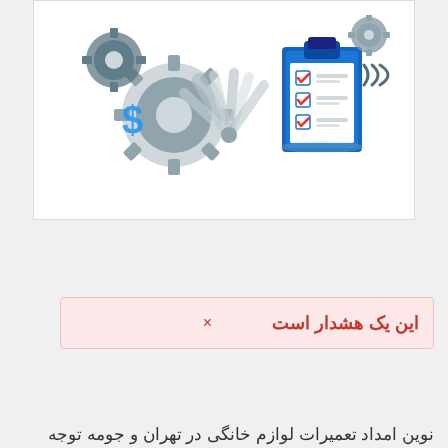[Figure (illustration): Business/finance illustration with gears, dollar sign, clipboard with checkboxes, and industrial equipment in blue and grey tones]
این یک هشدار است ×
نوین امداد تعمیرات لوازم خانگی در تهران و جومه توجه